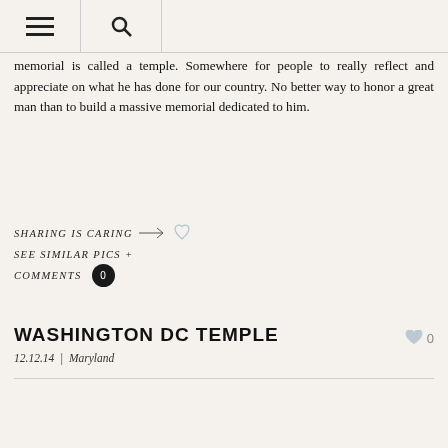Navigation header with hamburger menu and search icon
memorial is called a temple. Somewhere for people to really reflect and appreciate on what he has done for our country. No better way to honor a great man than to build a massive memorial dedicated to him.
SHARING IS CARING
SEE SIMILAR PICS +
COMMENTS 0
WASHINGTON DC TEMPLE
12.12.14 | Maryland